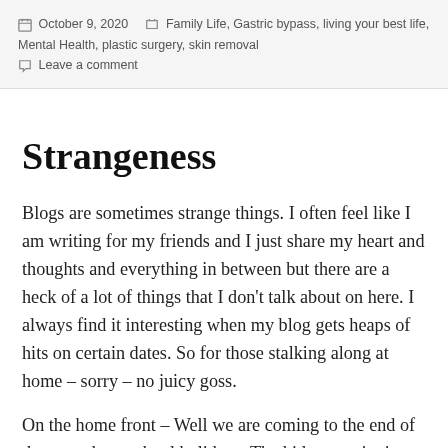October 9, 2020   Family Life, Gastric bypass, living your best life, Mental Health, plastic surgery, skin removal   Leave a comment
Strangeness
Blogs are sometimes strange things. I often feel like I am writing for my friends and I just share my heart and thoughts and everything in between but there are a heck of a lot of things that I don’t talk about on here. I always find it interesting when my blog gets heaps of hits on certain dates. So for those stalking along at home – sorry – no juicy goss.
On the home front – Well we are coming to the end of the term three school holidays. The kids are enjoying themselves and what a full and busy time the last few weeks have been. We hope the famili…